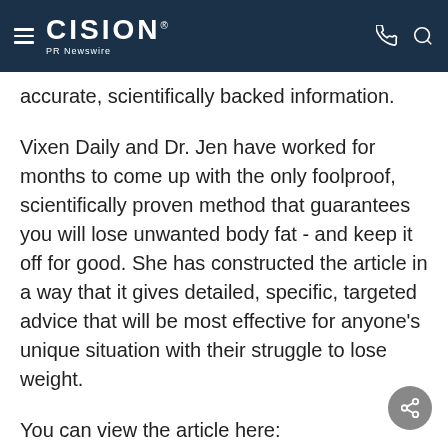CISION PR Newswire
accurate, scientifically backed information.
Vixen Daily and Dr. Jen have worked for months to come up with the only foolproof, scientifically proven method that guarantees you will lose unwanted body fat - and keep it off for good. She has constructed the article in a way that it gives detailed, specific, targeted advice that will be most effective for anyone's unique situation with their struggle to lose weight.
You can view the article here:
Article: